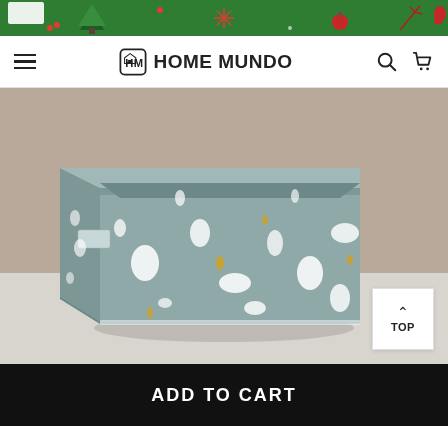[Figure (illustration): Christmas banner with green background and festive holiday decorations including Christmas trees, snowflakes, mittens, and ornaments in red and white]
HOME MUNDO
[Figure (photo): A gray fabric storage basket/bin with white and yellow dot/teardrop pattern, rectangular shape with handles, photographed on a white surface against a beige background]
TOP
ADD TO CART